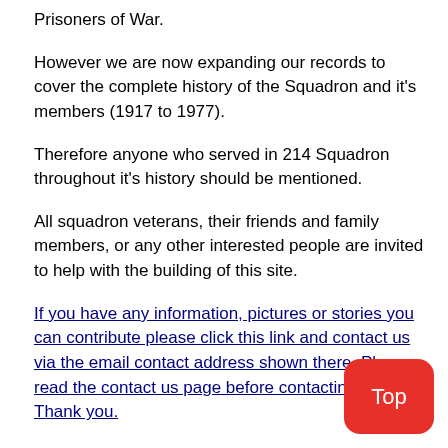Prisoners of War.
However we are now expanding our records to cover the complete history of the Squadron and it's members (1917 to 1977).
Therefore anyone who served in 214 Squadron throughout it's history should be mentioned.
All squadron veterans, their friends and family members, or any other interested people are invited to help with the building of this site.
If you have any information, pictures or stories you can contribute please click this link and contact us via the email contact address shown there. Please read the contact us page before contacting us. Thank you.
All materials or photos sent will be treated with the greatest care, loaded onto the site with the source